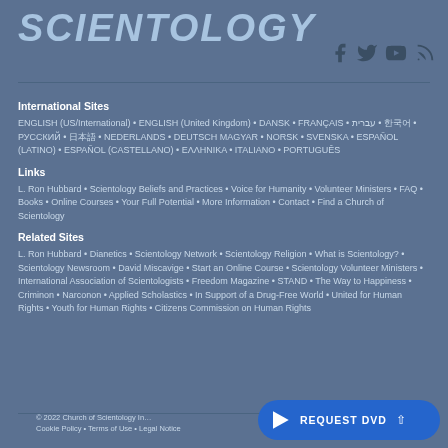SCIENTOLOGY
International Sites
ENGLISH (US/International) • ENGLISH (United Kingdom) • DANSK • FRANÇAIS • עברית • 한국어 • РУССКИЙ • 日本語 • NEDERLANDS • DEUTSCH MAGYAR • NORSK • SVENSKA • ESPAÑOL (LATINO) • ESPAÑOL (CASTELLANO) • ΕΛΛΗΝΙΚΑ • ITALIANO • PORTUGUÊS
Links
L. Ron Hubbard • Scientology Beliefs and Practices • Voice for Humanity • Volunteer Ministers • FAQ • Books • Online Courses • Your Full Potential • More Information • Contact • Find a Church of Scientology
Related Sites
L. Ron Hubbard • Dianetics • Scientology Network • Scientology Religion • What is Scientology? • Scientology Newsroom • David Miscavige • Start an Online Course • Scientology Volunteer Ministers • International Association of Scientologists • Freedom Magazine • STAND • The Way to Happiness • Criminon • Narconon • Applied Scholastics • In Support of a Drug-Free World • United for Human Rights • Youth for Human Rights • Citizens Commission on Human Rights
© 2022 Church of Scientology International • Cookie Policy • Terms of Use • Legal Notice